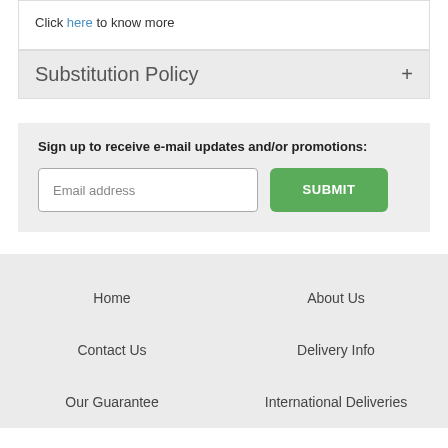Click here to know more
Substitution Policy
Sign up to receive e-mail updates and/or promotions:
Email address
SUBMIT
Home
About Us
Contact Us
Delivery Info
Our Guarantee
International Deliveries